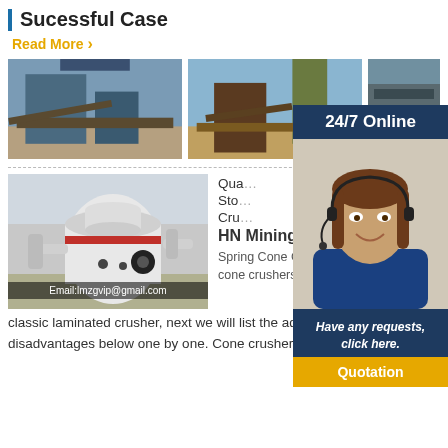Sucessful Case
Read More
[Figure (photo): Mining/quarry site with industrial equipment and conveyor belts]
[Figure (photo): Mining or stone crushing site with conveyor belts and heavy machinery]
[Figure (photo): Partial view of quarry/mining machinery]
[Figure (photo): 24/7 Online customer service agent - woman with headset smiling, with overlay: 'Have any requests, click here.' and Quotation button]
[Figure (photo): Spring cone crusher industrial machine. Email:lmzgvip@gmail.com overlay at bottom.]
Qua...
Sto...
Cru...
HN Mining
Spring Cone Crusher Advantage. Spring cone crushers is a classic laminated crusher, next we will list the advantage and disadvantages below one by one. Cone crusher is usually used as